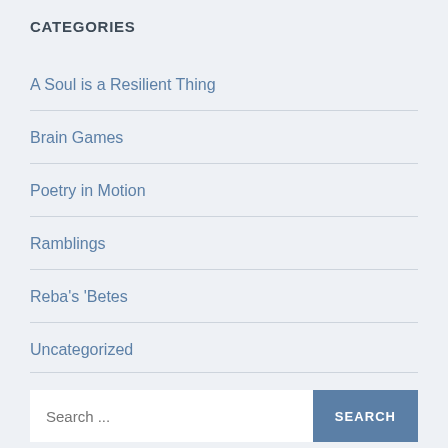CATEGORIES
A Soul is a Resilient Thing
Brain Games
Poetry in Motion
Ramblings
Reba's 'Betes
Uncategorized